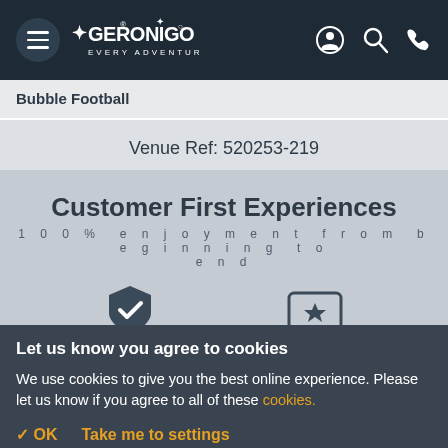[Figure (logo): Geronigo navigation bar with hamburger menu, logo reading GERONIGO EVERY ADVENTURE, and icons for user, search, and phone]
Bubble Football
Venue Ref: 520253-219
Customer First Experiences
100% enjoyment from beginning to end
Let us know you agree to cookies
We use cookies to give you the best online experience. Please let us know if you agree to all of these cookies.
✓ OK   Take me to settings